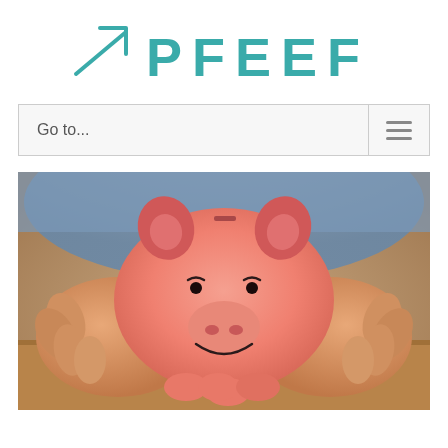[Figure (logo): PFEEF logo with teal upward-trending arrow and teal bold text 'PFEEF' with wide letter spacing]
Go to...
[Figure (photo): Elderly person's hands holding a smiling pink piggy bank on a wooden surface, blue shirt visible in background]